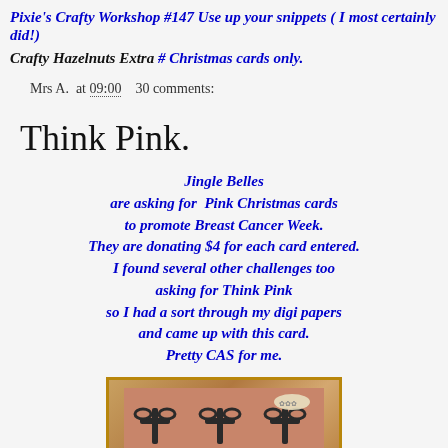Pixie's Crafty Workshop #147 Use up your snippets ( I most certainly did!)
Crafty Hazelnuts Extra # Christmas cards only.
Mrs A. at 09:00   30 comments:
Think Pink.
Jingle Belles are asking for Pink Christmas cards to promote Breast Cancer Week. They are donating $4 for each card entered. I found several other challenges too asking for Think Pink so I had a sort through my digi papers and came up with this card. Pretty CAS for me.
[Figure (photo): A handmade card with a gold glitter border showing what appears to be a pink/terracotta background with dark decorative elements including bows or crosses, and a small embellishment in the upper right area.]